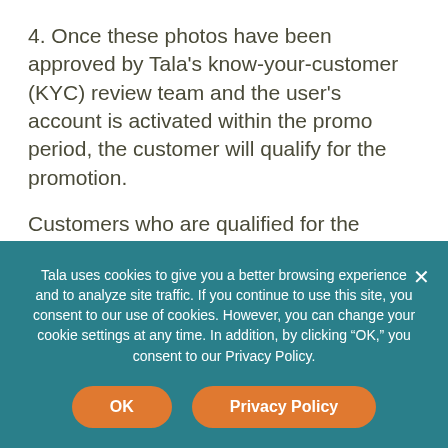4. Once these photos have been approved by Tala's know-your-customer (KYC) review team and the user's account is activated within the promo period, the customer will qualify for the promotion.
Customers who are qualified for the promotion will receive an e-voucher worth PHP 200 from Puregold.
Qualified recipients will receive a text message (SMS)
Tala uses cookies to give you a better browsing experience and to analyze site traffic. If you continue to use this site, you consent to our use of cookies. However, you can change your cookie settings at any time. In addition, by clicking “OK,” you consent to our Privacy Policy.